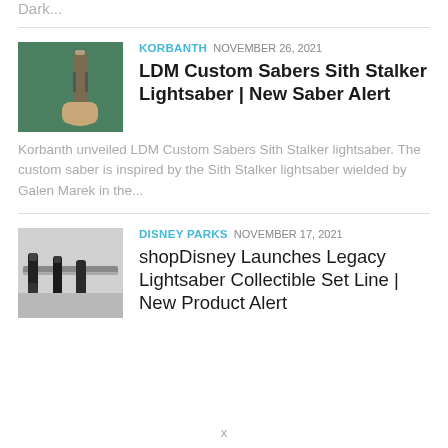Dark...
KORBANTH  NOVEMBER 26, 2021
[Figure (photo): A hand holding a lightsaber hilt against a green/teal background]
LDM Custom Sabers Sith Stalker Lightsaber | New Saber Alert
Korbanth unveiled LDM Custom Sabers Sith Stalker lightsaber. The custom saber is inspired by the Sith Stalker lightsaber wielded by Galen Marek in the...
DISNEY PARKS  NOVEMBER 17, 2021
[Figure (photo): Several dark lightsaber pens/collectibles on a light background]
shopDisney Launches Legacy Lightsaber Collectible Set Line | New Product Alert